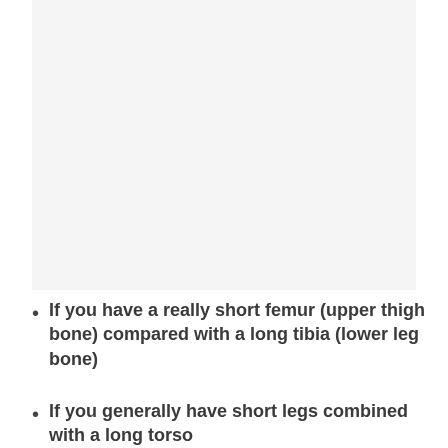[Figure (photo): A large light gray placeholder/image area occupying the top portion of the page, likely containing an anatomical or instructional image related to femur and tibia bone comparison.]
If you have a really short femur (upper thigh bone) compared with a long tibia (lower leg bone)
If you generally have short legs combined with a long torso